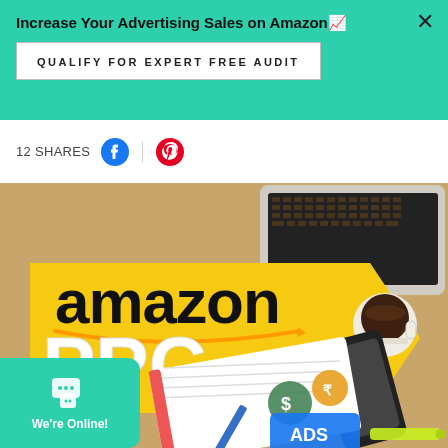Increase Your Advertising Sales on Amazon 📈
QUALIFY FOR EXPERT FREE AUDIT
12 SHARES
[Figure (illustration): Amazon PPC Budget promotional image showing a desk with laptop, notebook, phone, coffee cup and advertising icons. Text reads 'amazon PPC BUDGET' on yellow background.]
We're Online!